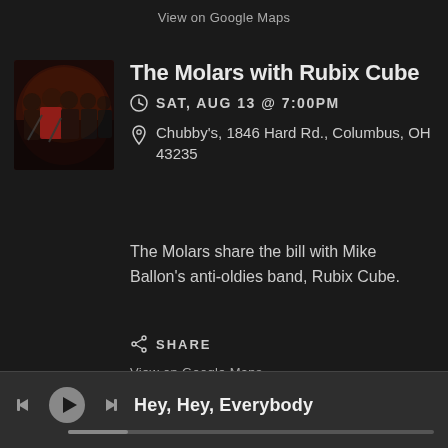View on Google Maps
The Molars with Rubix Cube
SAT, AUG 13 @ 7:00PM
Chubby's, 1846 Hard Rd., Columbus, OH 43235
[Figure (photo): Band photo of The Molars - group of musicians on dark background]
The Molars share the bill with Mike Ballon's anti-oldies band, Rubix Cube.
SHARE
View on Google Maps
Hey, Hey, Everybody